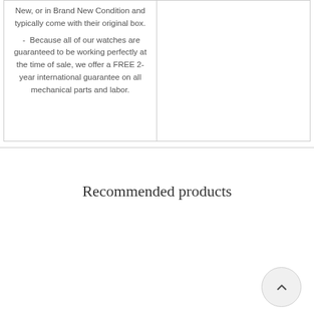New, or in Brand New Condition and typically come with their original box.
- Because all of our watches are guaranteed to be working perfectly at the time of sale, we offer a FREE 2-year international guarantee on all mechanical parts and labor.
Recommended products